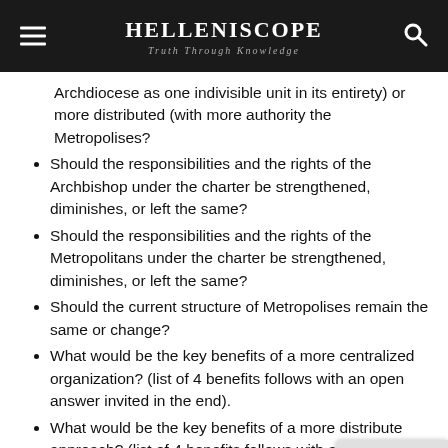HELLENISCOPE — Truth Through Knowledge
Archdiocese as one indivisible unit in its entirety) or more distributed (with more authority the Metropolises?
Should the responsibilities and the rights of the Archbishop under the charter be strengthened, diminishes, or left the same?
Should the responsibilities and the rights of the Metropolitans under the charter be strengthened, diminishes, or left the same?
Should the current structure of Metropolises remain the same or change?
What would be the key benefits of a more centralized organization? (list of 4 benefits follows with an open answer invited in the end).
What would be the key benefits of a more distributed approach? (list of 4 benefits follows with an open answer